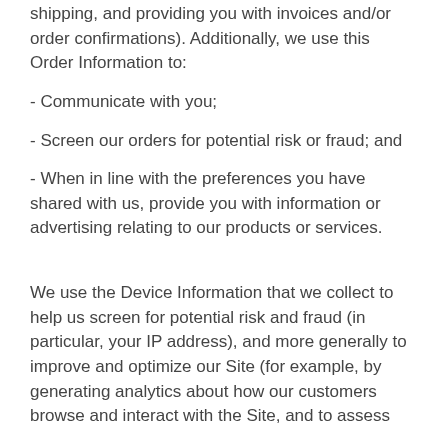shipping, and providing you with invoices and/or order confirmations). Additionally, we use this Order Information to:
- Communicate with you;
- Screen our orders for potential risk or fraud; and
- When in line with the preferences you have shared with us, provide you with information or advertising relating to our products or services.
We use the Device Information that we collect to help us screen for potential risk and fraud (in particular, your IP address), and more generally to improve and optimize our Site (for example, by generating analytics about how our customers browse and interact with the Site, and to assess